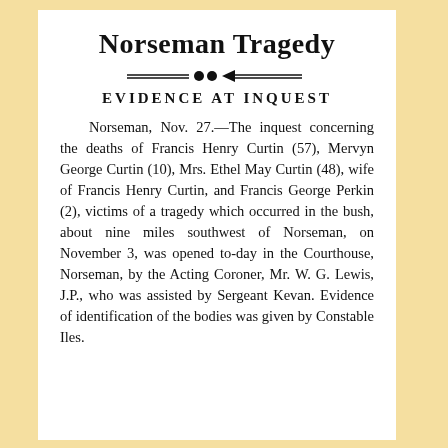Norseman Tragedy
EVIDENCE AT INQUEST
Norseman, Nov. 27.—The inquest concerning the deaths of Francis Henry Curtin (57), Mervyn George Curtin (10), Mrs. Ethel May Curtin (48), wife of Francis Henry Curtin, and Francis George Perkin (2), victims of a tragedy which occurred in the bush, about nine miles southwest of Norseman, on November 3, was opened to-day in the Courthouse, Norseman, by the Acting Coroner, Mr. W. G. Lewis, J.P., who was assisted by Sergeant Kevan. Evidence of identification of the bodies was given by Constable Iles.